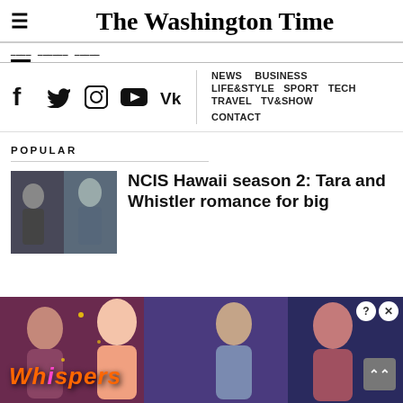The Washington Time
NEWS  BUSINESS  LIFE & STYLE  SPORT  TECH  TRAVEL  TV & SHOW  CONTACT
[Figure (other): Social media icons: Facebook, Twitter, Instagram, YouTube, VK]
POPULAR
[Figure (photo): NCIS Hawaii TV show image with two female characters]
NCIS Hawaii season 2: Tara and Whistler romance for big
[Figure (other): Whispers mobile game advertisement banner with romantic imagery]